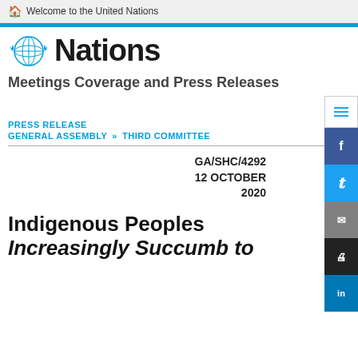Welcome to the United Nations
[Figure (logo): United Nations logo with olive wreath emblem and 'Nations' text in bold]
Meetings Coverage and Press Releases
PRESS RELEASE
GENERAL ASSEMBLY >> THIRD COMMITTEE
GA/SHC/4292
12 OCTOBER
2020
Indigenous Peoples Increasingly Succumb to